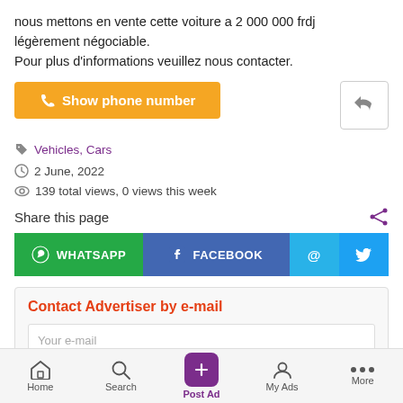nous mettons en vente cette voiture a 2 000 000 frdj légèrement négociable.
Pour plus d'informations veuillez nous contacter.
Show phone number
Vehicles, Cars
2 June, 2022
139 total views, 0 views this week
Share this page
WHATSAPP  FACEBOOK
Contact Advertiser by e-mail
Your e-mail
Home  Search  Post Ad  My Ads  More